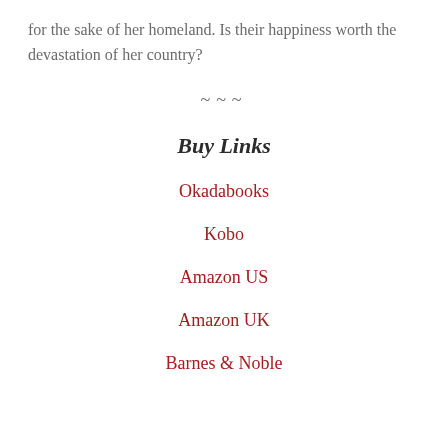for the sake of her homeland. Is their happiness worth the devastation of her country?
~~~
Buy Links
Okadabooks
Kobo
Amazon US
Amazon UK
Barnes & Noble